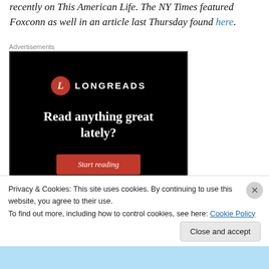recently on This American Life. The NY Times featured Foxconn as well in an article last Thursday found here.
Advertisements
[Figure (advertisement): Longreads advertisement on black background with red circle logo, tagline 'Read anything great lately?' and red 'Start reading' button]
Privacy & Cookies: This site uses cookies. By continuing to use this website, you agree to their use.
To find out more, including how to control cookies, see here: Cookie Policy
Close and accept